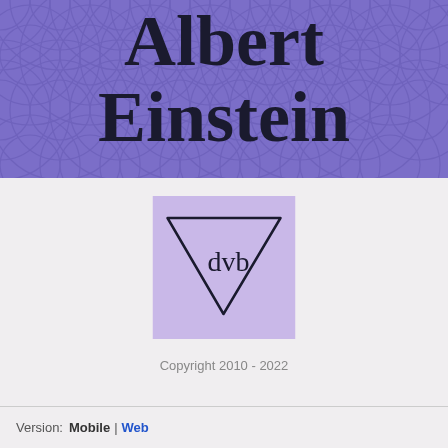Albert Einstein
[Figure (logo): DVB publisher logo — an inverted triangle with the letters 'dvb' inside, on a light purple/lavender background]
Copyright 2010 - 2022
Version: Mobile | Web